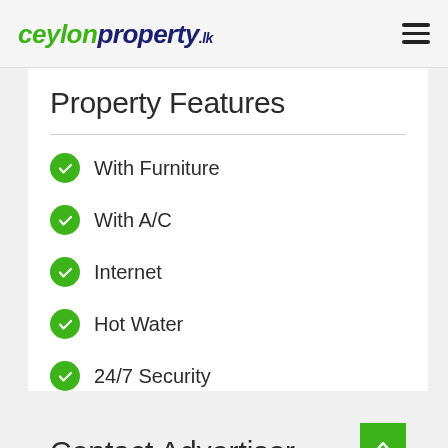ceylonproperty.lk
Property Features
With Furniture
With A/C
Internet
Hot Water
24/7 Security
Contact Advertiser